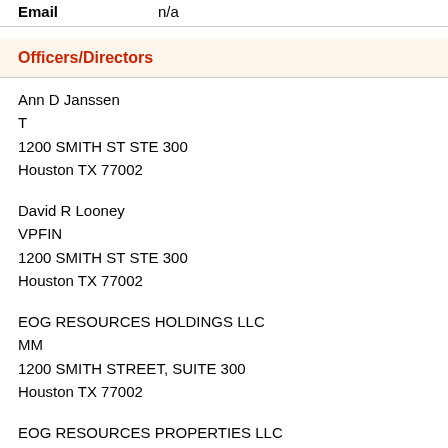Email    n/a
Officers/Directors
Ann D Janssen
T
1200 SMITH ST STE 300
Houston TX 77002
David R Looney
VPFIN
1200 SMITH ST STE 300
Houston TX 77002
EOG RESOURCES HOLDINGS LLC
MM
1200 SMITH STREET, SUITE 300
Houston TX 77002
EOG RESOURCES PROPERTIES LLC
MM
1200 SMITH STREET, SUITE 300